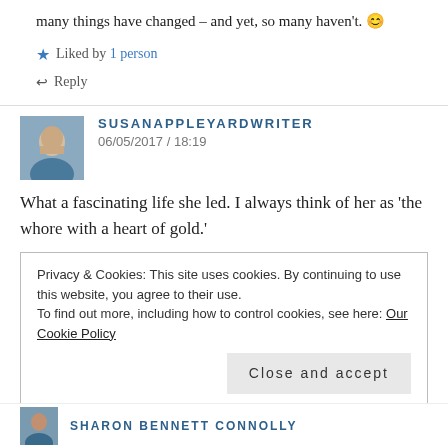many things have changed – and yet, so many haven't. 😊
★ Liked by 1 person
↩ Reply
SUSANAPPLEYARDWRITER
06/05/2017 / 18:19
What a fascinating life she led. I always think of her as 'the whore with a heart of gold.'
Privacy & Cookies: This site uses cookies. By continuing to use this website, you agree to their use.
To find out more, including how to control cookies, see here: Our Cookie Policy
Close and accept
SHARON BENNETT CONNOLLY